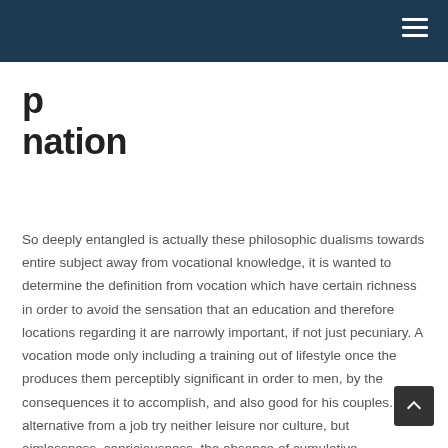p
nation
So deeply entangled is actually these philosophic dualisms towards entire subject away from vocational knowledge, it is wanted to determine the definition from vocation which have certain richness in order to avoid the sensation that an education and therefore locations regarding it are narrowly important, if not just pecuniary. A vocation mode only including a training out of lifestyle once the produces them perceptibly significant in order to men, by the consequences it to accomplish, and also good for his couples. The alternative from a job try neither leisure nor culture, but aimlessness, capriciousness, the absence of cumulative achievement inside experience, into the individual front side, and you